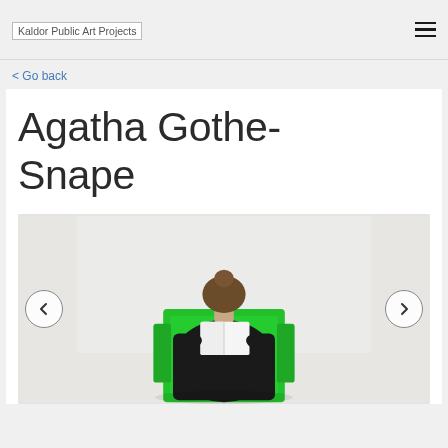[Figure (logo): Kaldor Public Art Projects logo/text in header]
< Go back
Agatha Gothe-Snape
[Figure (photo): Person seen from behind, seated in a bright green chair, reading a book/document, against a light grey background. Navigation arrows on left and right sides of the image.]